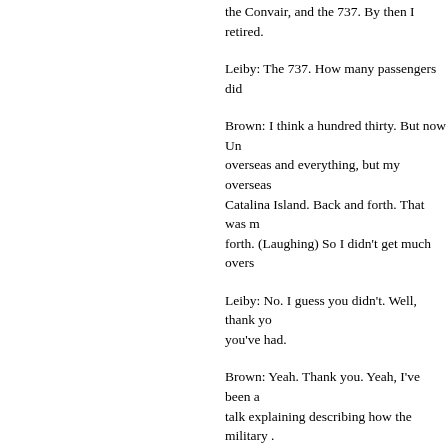the Convair, and the 737. By then I retired.
Leiby: The 737. How many passengers did
Brown: I think a hundred thirty. But now Un overseas and everything, but my overseas Catalina Island. Back and forth. That was m forth. (Laughing) So I didn't get much overs
Leiby: No. I guess you didn't. Well, thank yo you've had.
Brown: Yeah. Thank you. Yeah, I've been a talk explaining describing how the military . could tell a bombardier by the ring around h briefcase of maps and charts; and you can and you can tell a fighter pilot . . . but you c